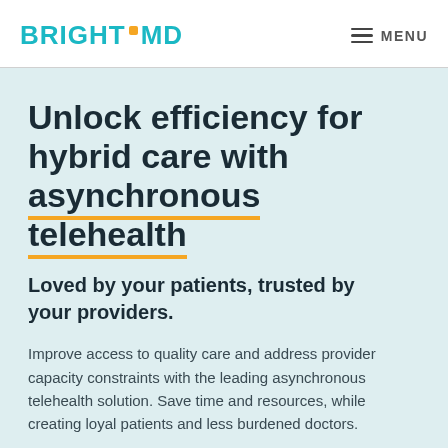BRIGHT·MD  MENU
Unlock efficiency for hybrid care with asynchronous telehealth
Loved by your patients, trusted by your providers.
Improve access to quality care and address provider capacity constraints with the leading asynchronous telehealth solution. Save time and resources, while creating loyal patients and less burdened doctors.